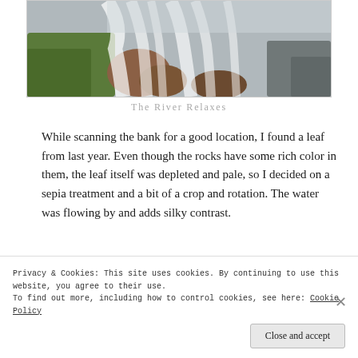[Figure (photo): Waterfall cascading over moss-covered rocks with silky water motion effect, partial view at top of page]
The River Relaxes
While scanning the bank for a good location, I found a leaf from last year.  Even though the rocks have some rich color in them, the leaf itself was depleted and pale, so I decided on a sepia treatment and a bit of a crop and rotation.  The water was flowing by and adds silky contrast.
[Figure (photo): Partially visible image at bottom, showing a broken/loading image icon]
Privacy & Cookies: This site uses cookies. By continuing to use this website, you agree to their use.
To find out more, including how to control cookies, see here: Cookie Policy